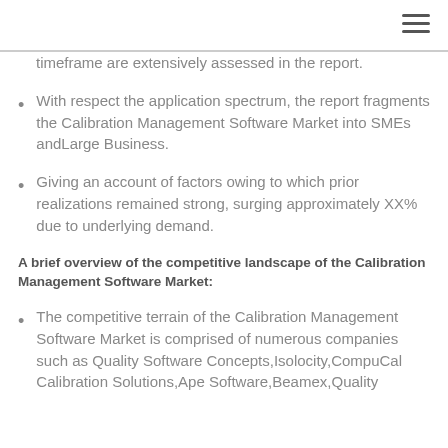timeframe are extensively assessed in the report.
With respect the application spectrum, the report fragments the Calibration Management Software Market into SMEs andLarge Business.
Giving an account of factors owing to which prior realizations remained strong, surging approximately XX% due to underlying demand.
A brief overview of the competitive landscape of the Calibration Management Software Market:
The competitive terrain of the Calibration Management Software Market is comprised of numerous companies such as Quality Software Concepts,Isolocity,CompuCal Calibration Solutions,Ape Software,Beamex,Quality